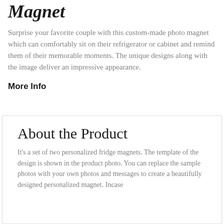Magnet
Surprise your favorite couple with this custom-made photo magnet which can comfortably sit on their refrigerator or cabinet and remind them of their memorable moments. The unique designs along with the image deliver an impressive appearance.
More Info
About the Product
It's a set of two personalized fridge magnets. The template of the design is shown in the product photo. You can replace the sample photos with your own photos and messages to create a beautifully designed personalized magnet. Incase